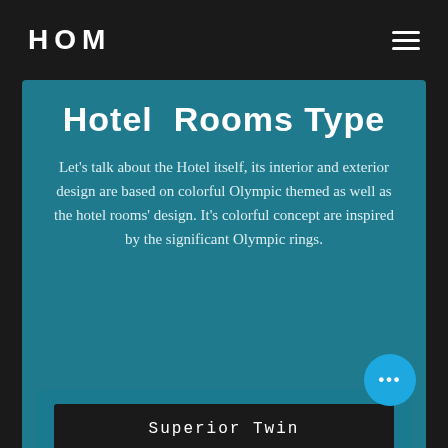HOM
Hotel Rooms Type
Let's talk about the Hotel itself, its interior and exterior design are based on colorful Olympic themed as well as the hotel rooms' design. It's colorful concept are inspired by the significant Olympic rings.
Superior Twin
Deluxe Junior
Superior Queen